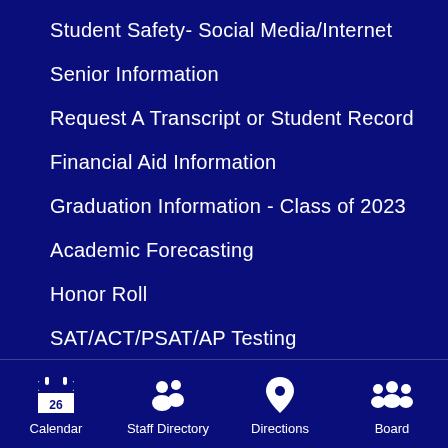Student Safety- Social Media/Internet
Senior Information
Request A Transcript or Student Record
Financial Aid Information
Graduation Information - Class of 2023
Academic Forecasting
Honor Roll
SAT/ACT/PSAT/AP Testing
Partnerships
Calendar  Staff Directory  Directions  Board